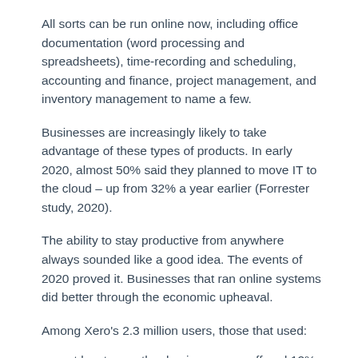All sorts can be run online now, including office documentation (word processing and spreadsheets), time-recording and scheduling, accounting and finance, project management, and inventory management to name a few.
Businesses are increasingly likely to take advantage of these types of products. In early 2020, almost 50% said they planned to move IT to the cloud – up from 32% a year earlier (Forrester study, 2020).
The ability to stay productive from anywhere always sounded like a good idea. The events of 2020 proved it. Businesses that ran online systems did better through the economic upheaval.
Among Xero's 2.3 million users, those that used:
at least one other business app suffered 12% less revenue loss than other businesses